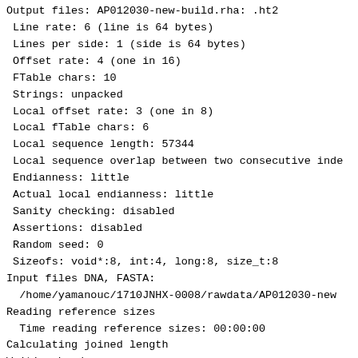Output files: AP012030-new-build.rha: .ht2
 Line rate: 6 (line is 64 bytes)
 Lines per side: 1 (side is 64 bytes)
 Offset rate: 4 (one in 16)
 FTable chars: 10
 Strings: unpacked
 Local offset rate: 3 (one in 8)
 Local fTable chars: 6
 Local sequence length: 57344
 Local sequence overlap between two consecutive inde
 Endianness: little
 Actual local endianness: little
 Sanity checking: disabled
 Assertions: disabled
 Random seed: 0
 Sizeofs: void*:8, int:4, long:8, size_t:8
Input files DNA, FASTA:
  /home/yamanouc/1710JNHX-0008/rawdata/AP012030-new
Reading reference sizes
  Time reading reference sizes: 00:00:00
Calculating joined length
Writing header